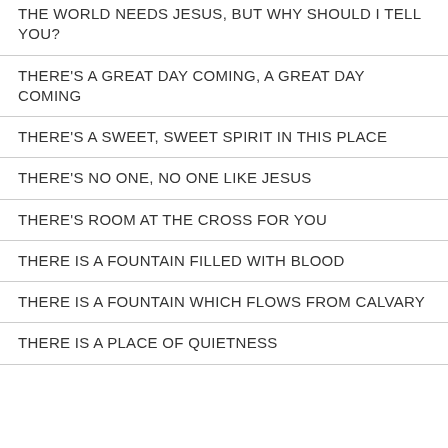THE WORLD NEEDS JESUS, BUT WHY SHOULD I TELL YOU?
THERE'S A GREAT DAY COMING, A GREAT DAY COMING
THERE'S A SWEET, SWEET SPIRIT IN THIS PLACE
THERE'S NO ONE, NO ONE LIKE JESUS
THERE'S ROOM AT THE CROSS FOR YOU
THERE IS A FOUNTAIN FILLED WITH BLOOD
THERE IS A FOUNTAIN WHICH FLOWS FROM CALVARY
THERE IS A PLACE OF QUIETNESS